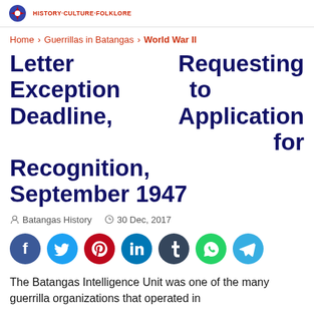HISTORY CULTURE FOLKLORE
Home > Guerrillas in Batangas > World War II
Letter Requesting Exception to Deadline, Application for Recognition, September 1947
Batangas History   30 Dec, 2017
[Figure (other): Social sharing buttons: Facebook, Twitter, Pinterest, LinkedIn, Tumblr, WhatsApp, Telegram]
The Batangas Intelligence Unit was one of the many guerrilla organizations that operated in